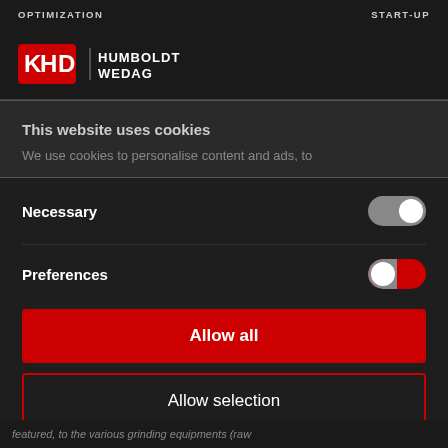OPTIMIZATION   START-UP
[Figure (logo): KHD Humboldt Wedag logo — red KHD emblem with white K-D letters, vertical divider, then HUMBOLDT WEDAG in white text]
This website uses cookies
We use cookies to personalise content and ads, to
Necessary
Preferences
Allow all
Allow selection
Powered by Cookiebot by Usercentrics
featured, to the various grinding equipments (raw